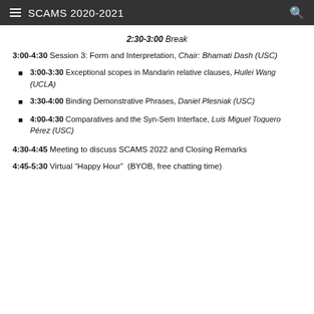SCAMS 2020-2021
2:30-3:00 Break
3:00-4:30 Session 3: Form and Interpretation, Chair: Bhamati Dash (USC)
3:00-3:30 Exceptional scopes in Mandarin relative clauses, Huilei Wang (UCLA)
3:30-4:00 Binding Demonstrative Phrases, Daniel Plesniak (USC)
4:00-4:30 Comparatives and the Syn-Sem Interface, Luis Miguel Toquero Pérez (USC)
4:30-4:45 Meeting to discuss SCAMS 2022 and Closing Remarks
4:45-5:30 Virtual "Happy Hour" (BYOB, free chatting time)